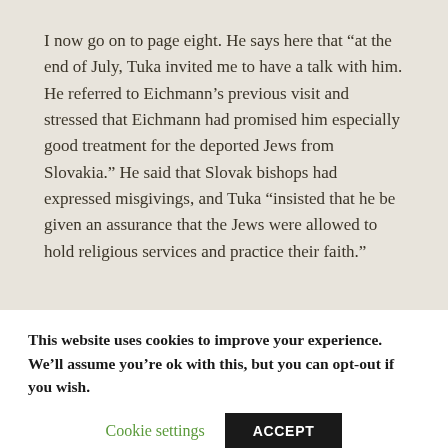I now go on to page eight. He says here that “at the end of July, Tuka invited me to have a talk with him. He referred to Eichmann’s previous visit and stressed that Eichmann had promised him especially good treatment for the deported Jews from Slovakia.” He said that Slovak bishops had expressed misgivings, and Tuka “insisted that he be given an assurance that the Jews were allowed to hold religious services and practice their faith.”
This website uses cookies to improve your experience. We’ll assume you’re ok with this, but you can opt-out if you wish.
Cookie settings   ACCEPT